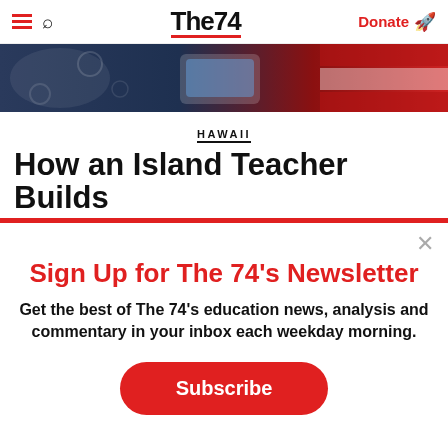The74 — Donate
[Figure (photo): Hero image showing students or educational setting with floral pattern]
HAWAII
How an Island Teacher Builds
Sign Up for The 74's Newsletter
Get the best of The 74's education news, analysis and commentary in your inbox each weekday morning.
Subscribe